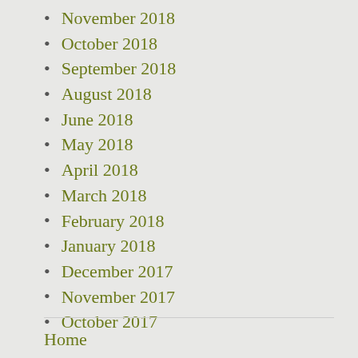November 2018
October 2018
September 2018
August 2018
June 2018
May 2018
April 2018
March 2018
February 2018
January 2018
December 2017
November 2017
October 2017
Home